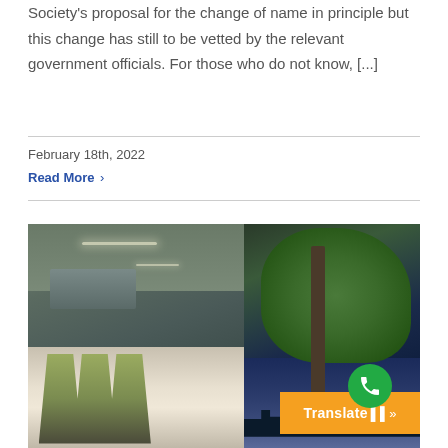Society's proposal for the change of name in principle but this change has still to be vetted by the relevant government officials. For those who do not know, [...]
February 18th, 2022
Read More ›
[Figure (photo): Interior photo of a modern luxury kitchen with pendant lights, a kitchen island with olive-colored bar stools, and large floor-to-ceiling glass windows/doors showing trees and a city skyline at dusk. An orange 'Translate' button overlay appears at the bottom right along with a green phone button.]